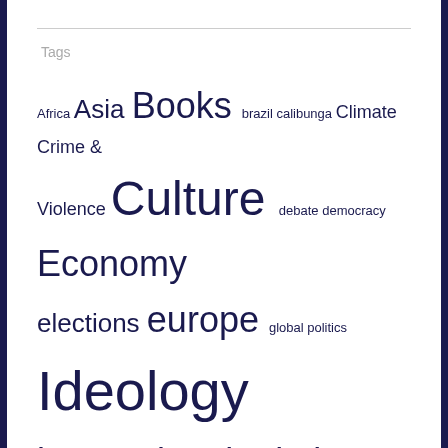Tags
Africa Asia Books brazil calibunga Climate Crime & Violence Culture debate democracy Economy elections europe global politics Ideology international relations latin america media Middle East North America Podcast Policy politics Science Series Tech theory UK Urbanism Various